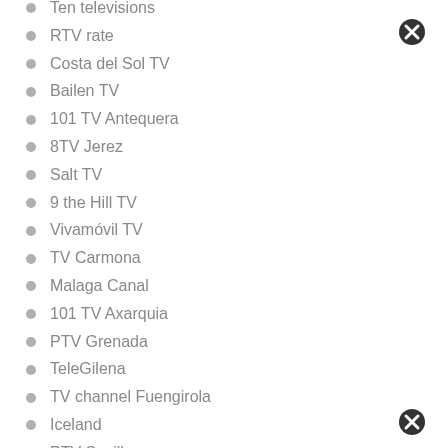Ten televisions
RTV rate
Costa del Sol TV
Bailen TV
101 TV Antequera
8TV Jerez
Salt TV
9 the Hill TV
Vivamóvil TV
TV Carmona
Malaga Canal
101 TV Axarquia
PTV Grenada
TeleGilena
TV channel Fuengirola
Iceland
PTV Seville
PTV Cordoba
coin channel